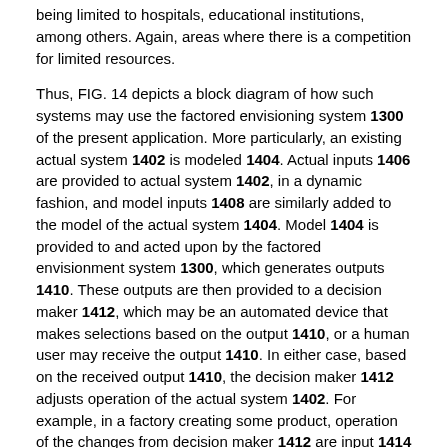being limited to hospitals, educational institutions, among others. Again, areas where there is a competition for limited resources.
Thus, FIG. 14 depicts a block diagram of how such systems may use the factored envisioning system 1300 of the present application. More particularly, an existing actual system 1402 is modeled 1404. Actual inputs 1406 are provided to actual system 1402, in a dynamic fashion, and model inputs 1408 are similarly added to the model of the actual system 1404. Model 1404 is provided to and acted upon by the factored envisionment system 1300, which generates outputs 1410. These outputs are then provided to a decision maker 1412, which may be an automated device that makes selections based on the output 1410, or a human user may receive the output 1410. In either case, based on the received output 1410, the decision maker 1412 adjusts operation of the actual system 1402. For example, in a factory creating some product, operation of the changes from decision maker 1412 are input 1414 into the actual system 1402, thereby adjusting/changing the configuration and/or operation of the actual system 1402.